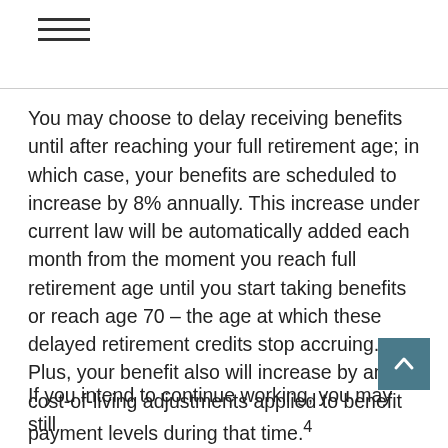≡
You may choose to delay receiving benefits until after reaching your full retirement age; in which case, your benefits are scheduled to increase by 8% annually. This increase under current law will be automatically added each month from the moment you reach full retirement age until you start taking benefits or reach age 70 – the age at which these delayed retirement credits stop accruing. Plus, your benefit also will increase by any cost-of-living adjustments applied to benefit payment levels during that time.⁴
If you intend to continue working, you may still